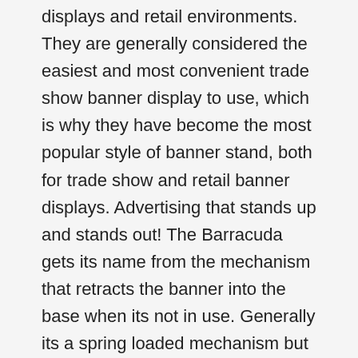displays and retail environments. They are generally considered the easiest and most convenient trade show banner display to use, which is why they have become the most popular style of banner stand, both for trade show and retail banner displays. Advertising that stands up and stands out! The Barracuda gets its name from the mechanism that retracts the banner into the base when its not in use. Generally its a spring loaded mechanism but some of our high-end retractable banner stands use a different system that has no springs at all. Our retractable banners provide mobile presentation solutions for trade show